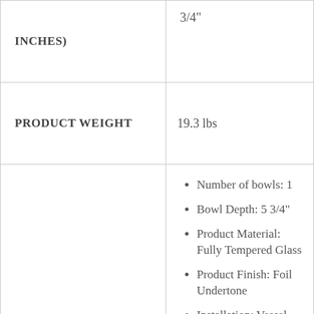| INCHES) | 3/4" |
| PRODUCT WEIGHT | 19.3 lbs |
| FEATURES | Number of bowls: 1
Bowl Depth: 5 3/4"
Product Material: Fully Tempered Glass
Product Finish: Foil Undertone
Installation: Vessel
Ensemble
Includes Vessel... |